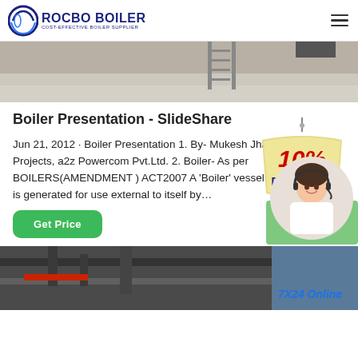ROCBO BOILER — COST-EFFECTIVE BOILER SUPPLIER
[Figure (photo): Top portion of an interior industrial or warehouse scene, showing ladders, floor and ceiling structure.]
Boiler Presentation - SlideShare
Jun 21, 2012 · Boiler Presentation 1. By- Mukesh Jha Sr.Engineer - Projects, a2z Powercom Pvt.Ltd. 2. Boiler- As per BOILERS(AMENDMENT ) ACT2007 A 'Boiler' vessel in which steam is generated for use external to itself by…
[Figure (infographic): 10% DISCOUNT badge in red and tan/beige design with decorative rope and tag shape.]
[Figure (photo): Customer service agent - smiling woman wearing headset, circular crop, on a green background accent.]
[Figure (photo): Bottom image showing industrial boiler or piping equipment in a dark industrial setting. Partially visible text '7X24 Online' at bottom right.]